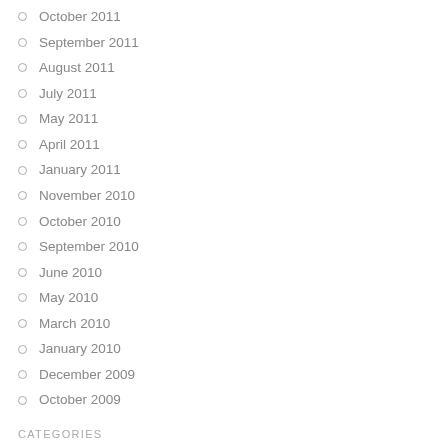October 2011
September 2011
August 2011
July 2011
May 2011
April 2011
January 2011
November 2010
October 2010
September 2010
June 2010
May 2010
March 2010
January 2010
December 2009
October 2009
CATEGORIES